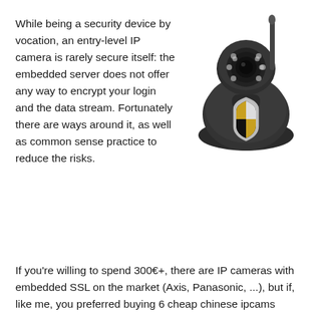While being a security device by vocation, an entry-level IP camera is rarely secure itself: the embedded server does not offer any way to encrypt your login and the data stream. Fortunately there are ways around it, as well as common sense practice to reduce the risks.
[Figure (illustration): An IP camera (dark colored pan-tilt camera with antenna) overlaid with a security shield icon (quartered shield in gold/black/silver colors)]
If you're willing to spend 300€+, there are IP cameras with embedded SSL on the market (Axis, Panasonic, ...), but if, like me, you preferred buying 6 cheap chinese ipcams